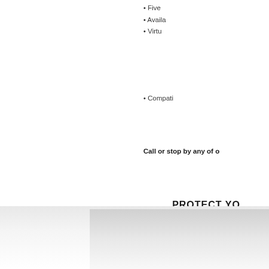• Five
• Available
• Virtu
• Compati
Call or stop by any of o
[Figure (logo): House outline logo with 'Hea' text in blue and green outline]
[Figure (logo): Blue square bracket/frame logo]
PROTECT YO
WITH AIR THA